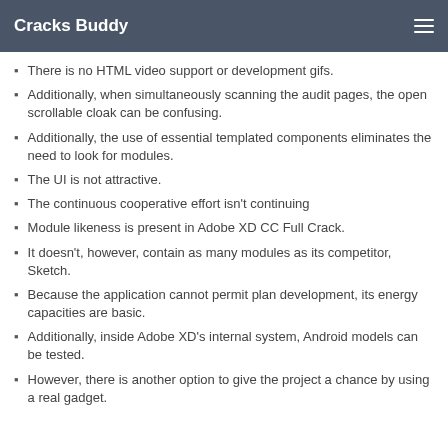Cracks Buddy
There is no HTML video support or development gifs.
Additionally, when simultaneously scanning the audit pages, the open scrollable cloak can be confusing.
Additionally, the use of essential templated components eliminates the need to look for modules.
The UI is not attractive.
The continuous cooperative effort isn't continuing
Module likeness is present in Adobe XD CC Full Crack.
It doesn't, however, contain as many modules as its competitor, Sketch.
Because the application cannot permit plan development, its energy capacities are basic.
Additionally, inside Adobe XD's internal system, Android models can be tested.
However, there is another option to give the project a chance by using a real gadget.